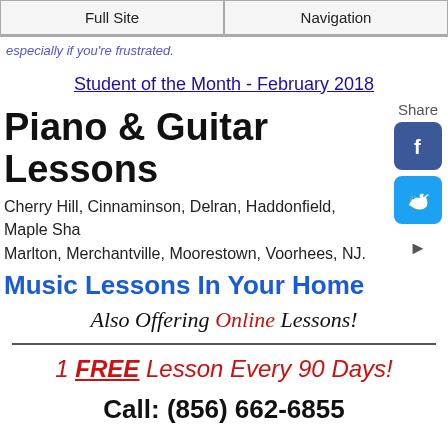Full Site | Navigation
especially if you're frustrated.
Student of the Month - February 2018
Piano & Guitar Lessons
Cherry Hill, Cinnaminson, Delran, Haddonfield, Maple Sha
Marlton, Merchantville, Moorestown, Voorhees, NJ.
Music Lessons In Your Home
Also Offering Online Lessons!
1 FREE Lesson Every 90 Days!
Call: (856) 662-6855